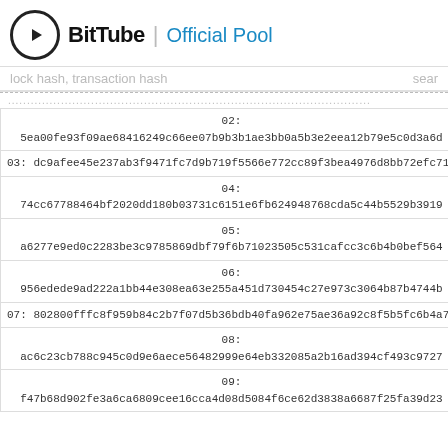BitTube | Official Pool
lock hash, transaction hash  sear
| 02: | 5ea00fe93f09ae68416249c66ee07b9b3b1ae3bb0a5b3e2eea12b79e5c0d3a6d |
| 03: | dc9afee45e237ab3f9471fc7d9b719f5566e772cc89f3bea4976d8bb72efc716 |
| 04: | 74cc67788464bf2020dd180b03731c6151e6fb624948768cda5c44b5529b3919 |
| 05: | a6277e9ed0c2283be3c9785869dbf79f6b71023505c531cafcc3c6b4b0bef564 |
| 06: | 956edede9ad222a1bb44e308ea63e255a451d730454c27e973c3064b87b4744b |
| 07: | 802800fffc8f959b84c2b7f07d5b36bdb40fa962e75ae36a92c8f5b5fc6b4a7e |
| 08: | ac6c23cb788c945c0d9e6aece56482999e64eb332085a2b16ad394cf493c9727 |
| 09: | f47b68d902fe3a6ca6809cee16cca4d08d5084f6ce62d3838a6687f25fa39d23 |